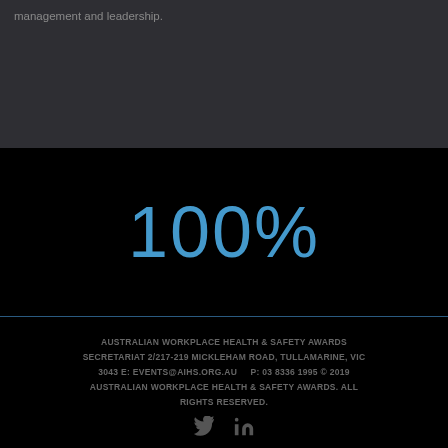management and leadership.
100%
AUSTRALIAN WORKPLACE HEALTH & SAFETY AWARDS SECRETARIAT 2/217-219 MICKLEHAM ROAD, TULLAMARINE, VIC 3043 E: EVENTS@AIHS.ORG.AU    P: 03 8336 1995 © 2019 AUSTRALIAN WORKPLACE HEALTH & SAFETY AWARDS. ALL RIGHTS RESERVED.